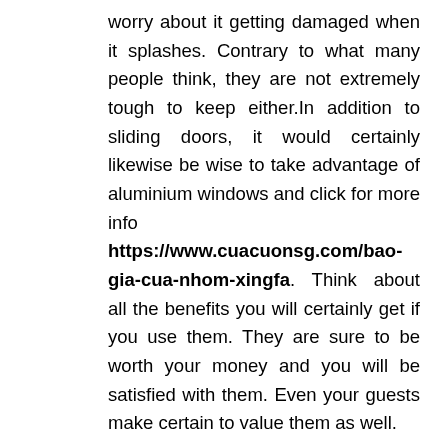worry about it getting damaged when it splashes. Contrary to what many people think, they are not extremely tough to keep either.In addition to sliding doors, it would certainly likewise be wise to take advantage of aluminium windows and click for more info https://www.cuacuonsg.com/bao-gia-cua-nhom-xingfa. Think about all the benefits you will certainly get if you use them. They are sure to be worth your money and you will be satisfied with them. Even your guests make certain to value them as well.